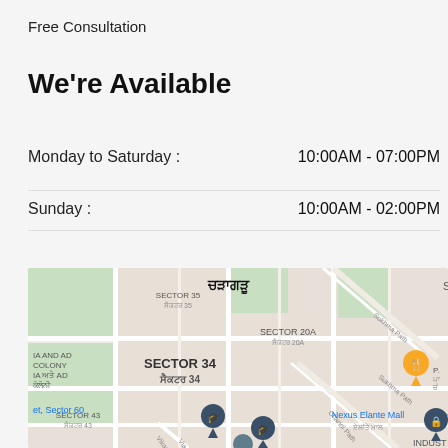Free Consultation
We're Available
Monday to Saturday :    10:00AM - 07:00PM
Sunday :    10:00AM - 02:00PM
[Figure (map): Google Maps screenshot showing Chandigarh area with sectors 20A, 34, 35, 43 labeled in English and Punjabi, Sukhma Path, Chandi Path roads visible, Nexus Elante Mall pin, Sector 60 reference, and an orange restaurant pin.]